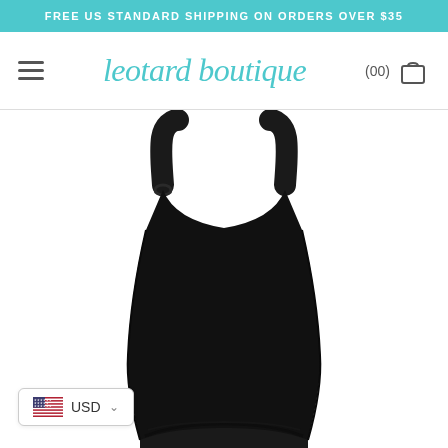FREE US STANDARD SHIPPING ON ORDERS OVER $35
leotard boutique
(00)
[Figure (photo): Black camisole leotard with thin straps on a white background, product image from Leotard Boutique]
USD